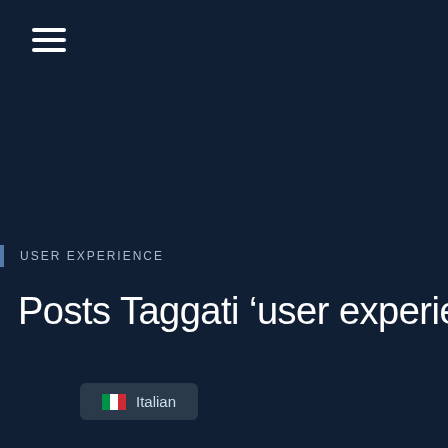[Figure (other): Hamburger menu icon with three horizontal white lines]
USER EXPERIENCE
Posts Taggati ‘user experience’
[Figure (other): Italian language selector button with Italian flag emoji and text 'Italian']